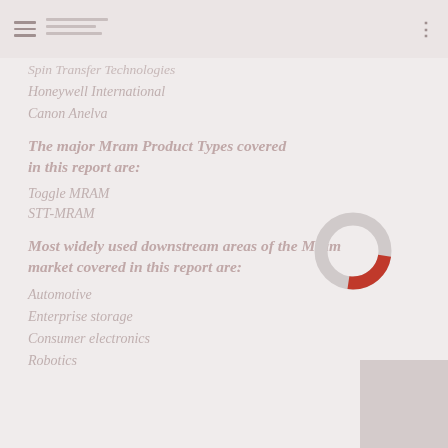Spin Transfer Technologies
Honeywell International
Canon Anelva
The major Mram Product Types covered in this report are:
Toggle MRAM
STT-MRAM
[Figure (donut-chart): A partial donut/ring chart with a red arc segment on a light grey ring background]
Most widely used downstream areas of the Mram market covered in this report are:
Automotive
Enterprise storage
Consumer electronics
Robotics